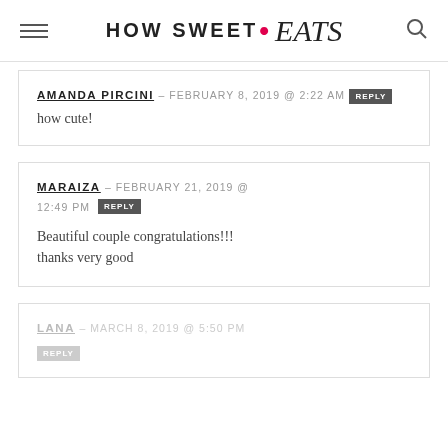HOW SWEET • eats
AMANDA PIRCINI – FEBRUARY 8, 2019 @ 2:22 AM  REPLY
how cute!
MARAIZA – FEBRUARY 21, 2019 @ 12:49 PM  REPLY
Beautiful couple congratulations!!! thanks very good
LANA – MARCH 8, 2019 @ 5:50 PM  REPLY